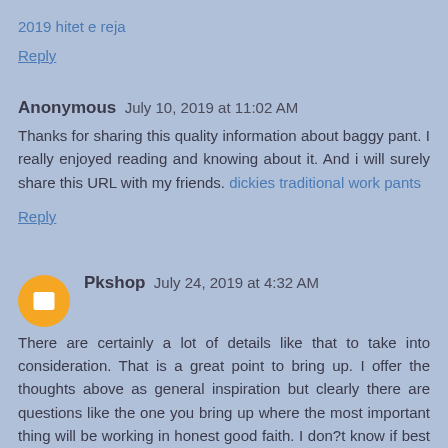2019 hitet e reja
Reply
Anonymous  July 10, 2019 at 11:02 AM
Thanks for sharing this quality information about baggy pant. I really enjoyed reading and knowing about it. And i will surely share this URL with my friends. dickies traditional work pants
Reply
Pkshop  July 24, 2019 at 4:32 AM
There are certainly a lot of details like that to take into consideration. That is a great point to bring up. I offer the thoughts above as general inspiration but clearly there are questions like the one you bring up where the most important thing will be working in honest good faith. I don?t know if best practices have emerged around things like that, but I am sure that your job is clearly identified as a fair game. Both boys and girls feel the impact of just a